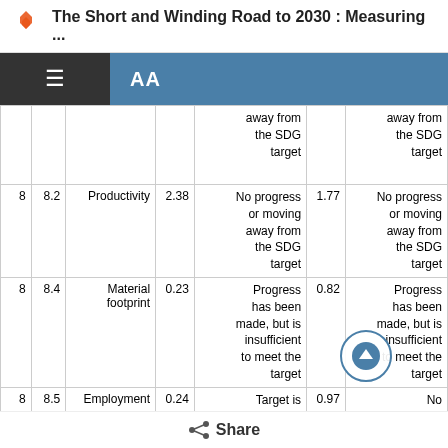The Short and Winding Road to 2030 : Measuring ...
| SDG | Target | Indicator | Score | Assessment | Score | Assessment |
| --- | --- | --- | --- | --- | --- | --- |
|  |  |  |  | away from the SDG target |  | away from the SDG target |
| 8 | 8.2 | Productivity | 2.38 | No progress or moving away from the SDG target | 1.77 | No progress or moving away from the SDG target |
| 8 | 8.4 | Material footprint | 0.23 | Progress has been made, but is insufficient to meet the target | 0.82 | Progress has been made, but is insufficient to meet the target |
| 8 | 8.5 | Employment | 0.24 | Target is achieved or on track to | 0.97 | No progress or moving away from |
Share